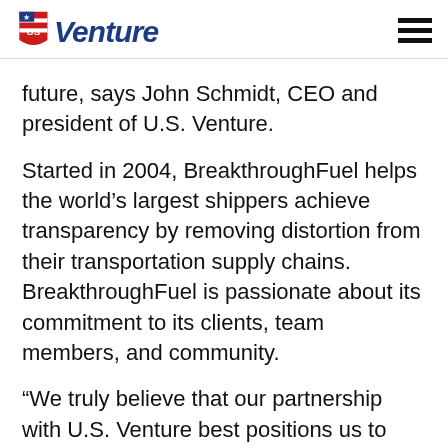US Venture [logo] [hamburger menu]
future,  says John Schmidt, CEO and president of U.S. Venture.
Started in 2004, BreakthroughFuel helps the world’s largest shippers achieve transparency by removing distortion from their transportation supply chains. BreakthroughFuel is passionate about its commitment to its clients, team members, and community.
“We truly believe that our partnership with U.S. Venture best positions us to realize our long-term strategic goals, and we are proud to be part of the U.S. Venture family,” says Brett Johnson,